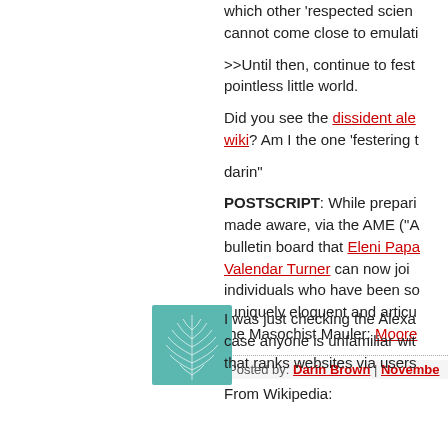which other 'respected scientists' cannot come close to emulati
>>Until then, continue to festo pointless little world.
Did you see the dissident ale wiki? Am I the one 'festering t
darin"
POSTSCRIPT: While prepari made aware, via the AME ("A bulletin board that Eleni Papa Valendar Turner can now joi individuals who have been so "uniquely eloquent and articu the Masochist Mauler: Moore
Posted by: Darin Brown | Novembe
[Figure (illustration): Teal/green decorative avatar image with leaf or feather pattern]
I was just checking the Alexa case anyone is unfamiliar wit that ranks websites via users
From Wikipedia: